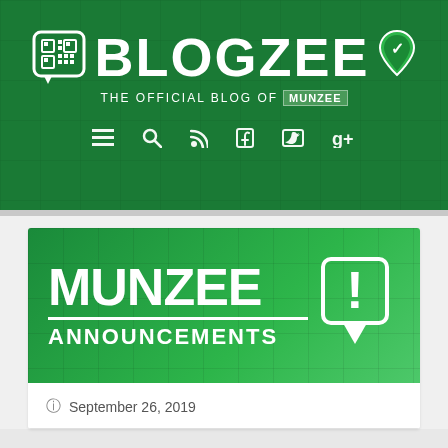[Figure (logo): BLOGZEE - The Official Blog of Munzee header banner with green background, QR code icon, BLOGZEE text, location pin icon, tagline and navigation icons]
[Figure (illustration): Munzee Announcements banner with large white text on green gradient background and exclamation mark location pin icon]
September 26, 2019